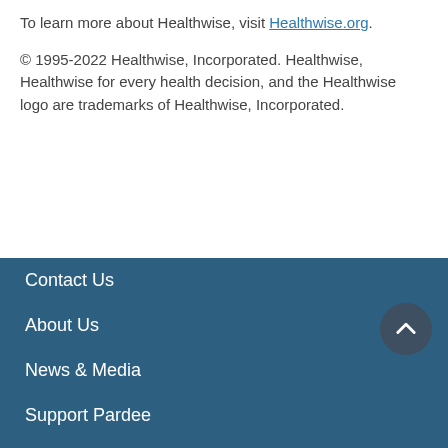To learn more about Healthwise, visit Healthwise.org.
© 1995-2022 Healthwise, Incorporated. Healthwise, Healthwise for every health decision, and the Healthwise logo are trademarks of Healthwise, Incorporated.
Contact Us
About Us
News & Media
Support Pardee